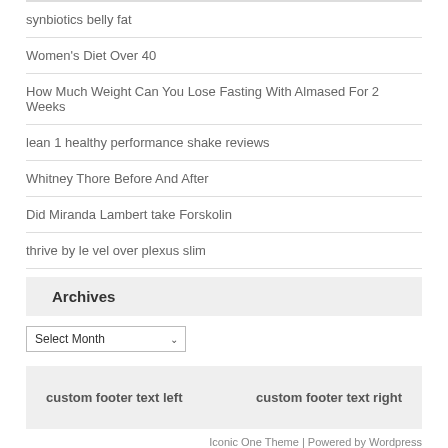synbiotics belly fat
Women's Diet Over 40
How Much Weight Can You Lose Fasting With Almased For 2 Weeks
lean 1 healthy performance shake reviews
Whitney Thore Before And After
Did Miranda Lambert take Forskolin
thrive by le vel over plexus slim
Archives
Select Month
custom footer text left    custom footer text right
Iconic One Theme | Powered by Wordpress